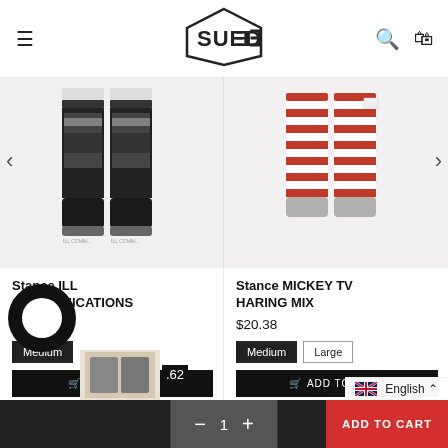[Figure (logo): SUEDE store logo in hexagon outline]
[Figure (photo): Stance ILL COMMUNICATIONS socks - black with graphic design, shown as a pair]
Stance ILL COMMUNICATIONS
$20.38
Medium
[Figure (photo): Stance MICKEY TV HARING MIX socks - red and white striped with Mickey Mouse theme, shown as a pair]
Stance MICKEY TV HARING MIX
$20.38
Medium  Large
ADD TO CART
ADD TO CART
1
ADD TO CART
English